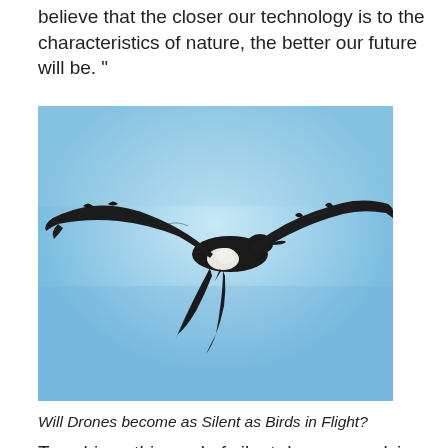believe that the closer our technology is to the characteristics of nature, the better our future will be. "
[Figure (photo): A large bird (frigatebird or similar large seabird) in silhouette, wings spread wide, soaring against a bright blue sky. The bird is dark/black with a white patch on its chest.]
Will Drones become as Silent as Birds in Flight?
To achieve this goal of silent drone propulsion, Delson Aeronautics built a “functional prototype” of a quadcopter capable of launching a payload of 3 kg into the air. And due to the specially developed propellers for which the company has applied for several patents, the drone is considerably quieter, as you can hear in the video.